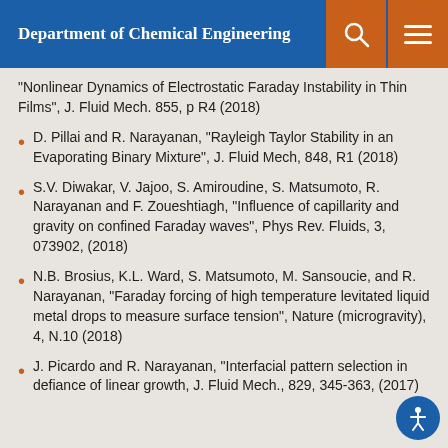Department of Chemical Engineering
"Nonlinear Dynamics of Electrostatic Faraday Instability in Thin Films", J. Fluid Mech. 855, p R4 (2018)
D. Pillai and R. Narayanan, "Rayleigh Taylor Stability in an Evaporating Binary Mixture", J. Fluid Mech, 848, R1 (2018)
S.V. Diwakar, V. Jajoo, S. Amiroudine, S. Matsumoto, R. Narayanan and F. Zoueshtiagh, "Influence of capillarity and gravity on confined Faraday waves", Phys Rev. Fluids, 3, 073902, (2018)
N.B. Brosius, K.L. Ward, S. Matsumoto, M. Sansoucie, and R. Narayanan, "Faraday forcing of high temperature levitated liquid metal drops to measure surface tension", Nature (microgravity), 4, N.10 (2018)
J. Picardo and R. Narayanan, "Interfacial pattern selection in defiance of linear growth, J. Fluid Mech., 829, 345-363, (2017)